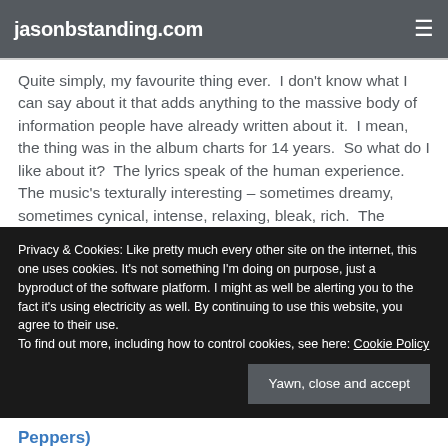jasonbstanding.com
Quite simply, my favourite thing ever.  I don't know what I can say about it that adds anything to the massive body of information people have already written about it.  I mean, the thing was in the album charts for 14 years.  So what do I like about it?  The lyrics speak of the human experience.  The music's texturally interesting – sometimes dreamy, sometimes cynical, intense, relaxing, bleak, rich.  The
Privacy & Cookies: Like pretty much every other site on the internet, this one uses cookies. It's not something I'm doing on purpose, just a byproduct of the software platform. I might as well be alerting you to the fact it's using electricity as well. By continuing to use this website, you agree to their use.
To find out more, including how to control cookies, see here: Cookie Policy
Peppers)